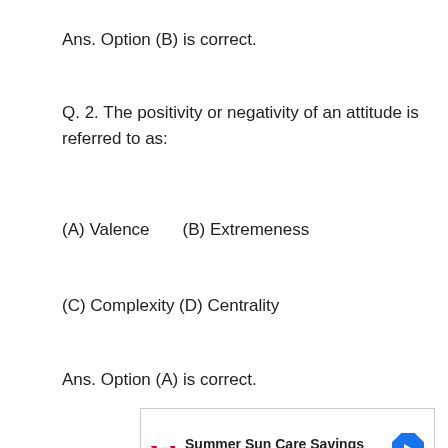Ans. Option (B) is correct.
Q. 2. The positivity or negativity of an attitude is referred to as:
(A) Valence      (B) Extremeness
(C) Complexity (D) Centrality
Ans. Option (A) is correct.
[Figure (other): Walgreens advertisement: Summer Sun Care Savings - Walgreens Photo with Walgreens logo and navigation arrow icon]